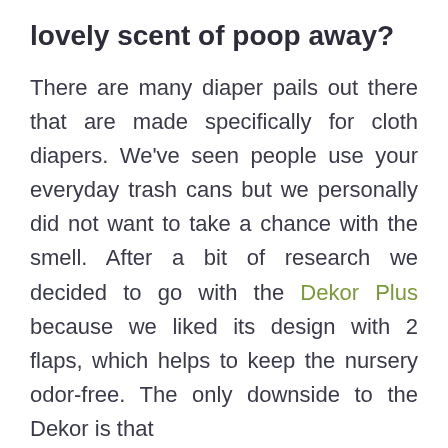lovely scent of poop away?
There are many diaper pails out there that are made specifically for cloth diapers. We've seen people use your everyday trash cans but we personally did not want to take a chance with the smell. After a bit of research we decided to go with the Dekor Plus because we liked its design with 2 flaps, which helps to keep the nursery odor-free. The only downside to the Dekor is that